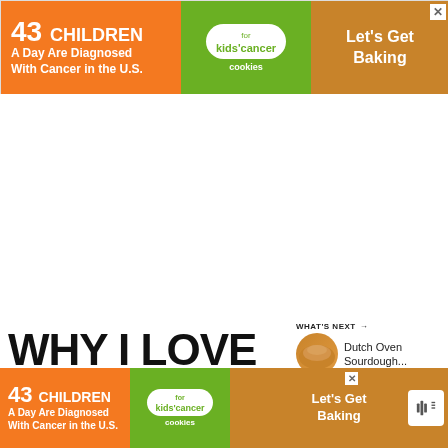[Figure (infographic): Advertisement banner: '43 CHILDREN A Day Are Diagnosed With Cancer in the U.S.' with cookies for kids' cancer logo and 'Let's Get Baking' call to action. Top banner.]
[Figure (other): White empty space area with social sidebar buttons: heart/like button (blue circle), count '2', and share button.]
WHY I LOVE THIS BA... BREAD WITH COCONUT M...
[Figure (infographic): What's Next panel showing Dutch Oven Sourdough... with bread image thumbnail.]
[Figure (infographic): Advertisement banner (bottom): '43 CHILDREN A Day Are Diagnosed With Cancer in the U.S.' with cookies for kids' cancer logo and 'Let's Get Baking' call to action.]